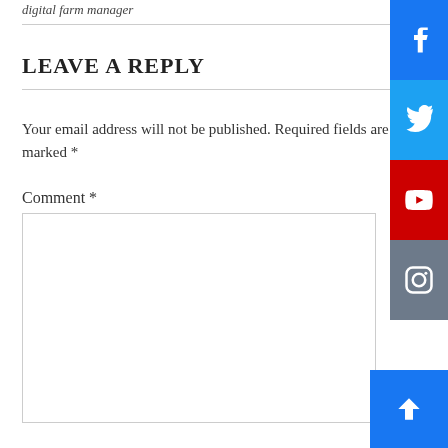digital farm manager
LEAVE A REPLY
Your email address will not be published. Required fields are marked *
Comment *